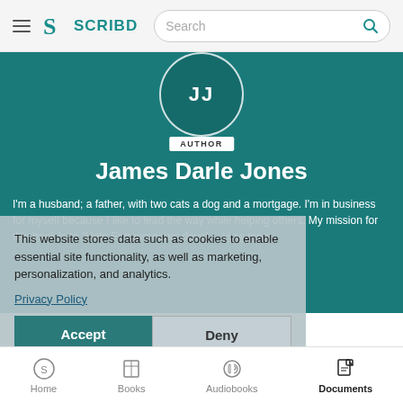SCRIBD — Search bar navigation
[Figure (screenshot): Scribd author profile page for James Darle Jones showing teal hero background, avatar with initials JJ, AUTHOR badge, author name, and bio text. Overlaid with a cookie consent dialog offering Accept and Deny buttons. Bottom navigation bar shows Home, Books, Audiobooks, Documents tabs.]
This website stores data such as cookies to enable essential site functionality, as well as marketing, personalization, and analytics.
Privacy Policy
James Darle Jones
I'm a husband; a father, with two cats a dog and a mortgage. I'm in business for myself because I like to lead the way while helping others. My mission for this book is to "Help Entrepreneurs devel.... view more
Home  Books  Audiobooks  Documents